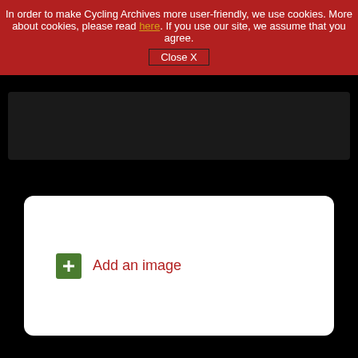In order to make Cycling Archives more user-friendly, we use cookies. More about cookies, please read here. If you use our site, we assume that you agree.
Close X
[Figure (other): Dark panel/banner area below cookie notice]
Add an image